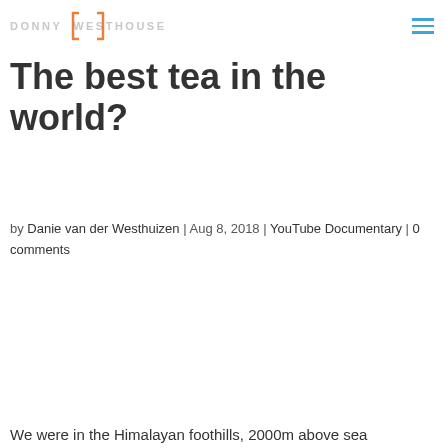DONNY WESTHOUSE
The best tea in the world?
by Danie van der Westhuizen | Aug 8, 2018 | YouTube Documentary | 0 comments
We were in the Himalayan foothills, 2000m above sea